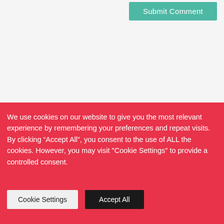[Figure (screenshot): Submit Comment button on a light gray form background, teal/green colored button with white text]
We use cookies on our website to give you the most relevant experience by remembering your preferences and repeat visits. By clicking “Accept All”, you consent to the use of ALL the cookies. However, you may visit "Cookie Settings" to provide a controlled consent.
Cookie Settings
Accept All